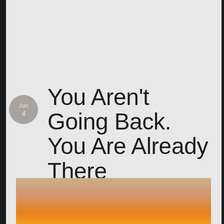You Aren't Going Back. You Are Already There
[Figure (photo): A beach sunset scene showing an orange and yellow gradient sky above deep blue ocean waves, with white beach chairs visible at the bottom of the frame on sandy beach.]